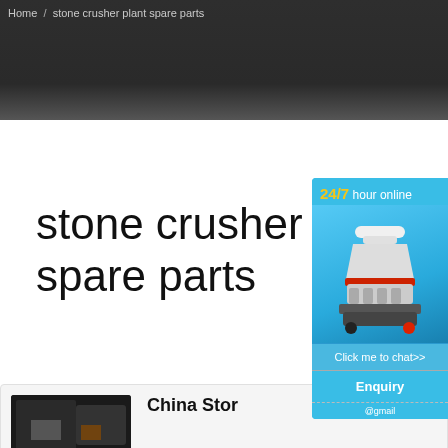Home > stone crusher plant spare parts
stone crusher plant spare parts
[Figure (illustration): Sidebar widget showing a cone crusher machine with '24/7 hour online' text, a 'Click me to chat>>' button, and an 'Enquiry' section below]
China Sto...
@gmail